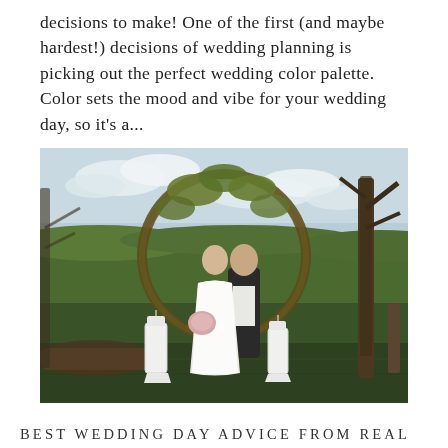decisions to make! One of the first (and maybe hardest!) decisions of wedding planning is picking out the perfect wedding color palette. Color sets the mood and vibe for your wedding day, so it's a...
[Figure (photo): A bride and groom standing under a circular floral arch in an outdoor field setting, with white lanterns flanking them and bare trees in the background under a cloudy sky.]
BEST WEDDING DAY ADVICE FROM REAL